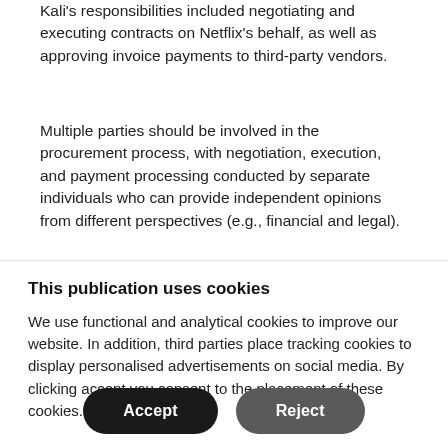Kali's responsibilities included negotiating and executing contracts on Netflix's behalf, as well as approving invoice payments to third-party vendors.
Multiple parties should be involved in the procurement process, with negotiation, execution, and payment processing conducted by separate individuals who can provide independent opinions from different perspectives (e.g., financial and legal).
This publication uses cookies
We use functional and analytical cookies to improve our website. In addition, third parties place tracking cookies to display personalised advertisements on social media. By clicking accept you consent to the placement of these cookies.